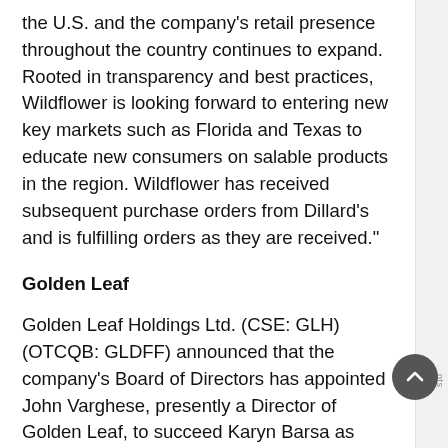the U.S. and the company's retail presence throughout the country continues to expand. Rooted in transparency and best practices, Wildflower is looking forward to entering new key markets such as Florida and Texas to educate new consumers on salable products in the region. Wildflower has received subsequent purchase orders from Dillard's and is fulfilling orders as they are received."
Golden Leaf
Golden Leaf Holdings Ltd. (CSE: GLH) (OTCQB: GLDFF) announced that the company's Board of Directors has appointed John Varghese, presently a Director of Golden Leaf, to succeed Karyn Barsa as Interim President and CEO of the Company and lead the Company through a strategic assessment of its management and operations. Ms. Barsa is no longer with the company. Mr. Varghese is mandated to lead the search for a new CEO and a new CFO immediately.  Company Controller Jason Benedict will serve as Interim CFO until a qualified replacement has